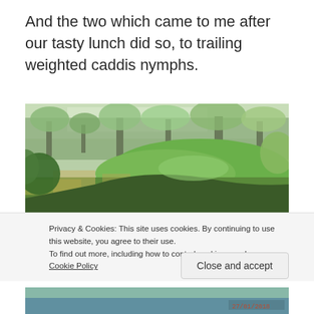And the two which came to me after our tasty lunch did so, to trailing weighted caddis nymphs.
[Figure (photo): Outdoor landscape photo showing a grassy clearing or meadow area bordered by trees and shrubs in early spring/summer. Lush green vegetation in the foreground, deciduous trees with light foliage in the background.]
Privacy & Cookies: This site uses cookies. By continuing to use this website, you agree to their use.
To find out more, including how to control cookies, see here: Cookie Policy
Close and accept
[Figure (photo): Partial view of another outdoor photo at the bottom of the page, appears to show water or a river scene with a date stamp visible.]